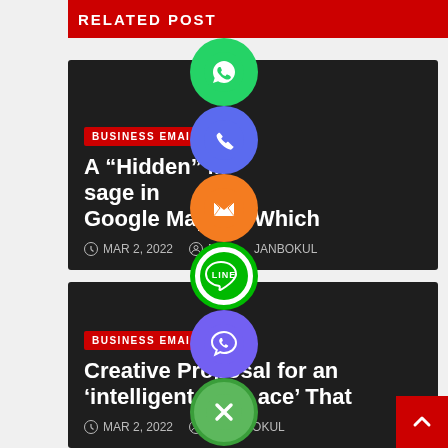RELATED POST
BUSINESS EMAIL LIST
A “Hidden” Message in Google Maps Which
MAR 2, 2022   MIJANBOKUL
BUSINESS EMAIL LIST
Creative Proposal for an ‘intelligent Place’ That
MAR 2, 2022   MIJANBOKUL